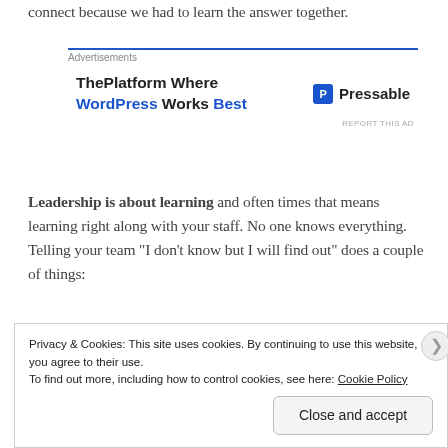connect because we had to learn the answer together.
[Figure (other): Advertisement banner for Pressable: 'ThePlatform Where WordPress Works Best' with Pressable logo]
Leadership is about learning and often times that means learning right along with your staff. No one knows everything. Telling your team "I don't know but I will find out" does a couple of things:
A. It keeps your head in the right place. Nobody likes a know-it-all and those "I'm the boss and have all the
Privacy & Cookies: This site uses cookies. By continuing to use this website, you agree to their use. To find out more, including how to control cookies, see here: Cookie Policy